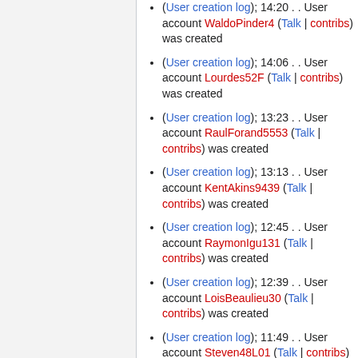(User creation log); 14:20 . . User account WaldoPinder4 (Talk | contribs) was created
(User creation log); 14:06 . . User account Lourdes52F (Talk | contribs) was created
(User creation log); 13:23 . . User account RaulForand5553 (Talk | contribs) was created
(User creation log); 13:13 . . User account KentAkins9439 (Talk | contribs) was created
(User creation log); 12:45 . . User account RaymonIgu131 (Talk | contribs) was created
(User creation log); 12:39 . . User account LoisBeaulieu30 (Talk | contribs) was created
(User creation log); 11:49 . . User account Steven48L01 (Talk | contribs) was created
(User creation log); 11:31 . . User account MarkusLoveless (Talk |